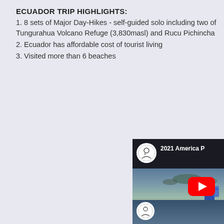ECUADOR TRIP HIGHLIGHTS:
1. 8 sets of Major Day-Hikes - self-guided solo including two of Tungurahua Volcano Refuge (3,830masl) and Rucu Pichincha
2. Ecuador has affordable cost of tourist living
3. Visited more than 6 beaches
[Figure (screenshot): YouTube video thumbnail showing '2021 America P...' with channel icon, dark scenic background with water/islands view, person standing on ledge, and YouTube play button overlay]
[Figure (screenshot): Partial YouTube video thumbnail showing channel icon at top, partially visible]